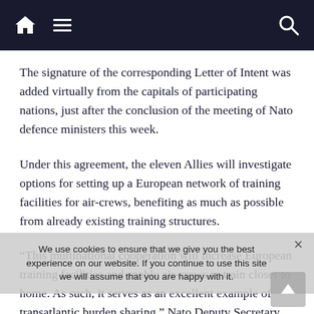Navigation bar with home, menu, and search icons
The signature of the corresponding Letter of Intent was added virtually from the capitals of participating nations, just after the conclusion of the meeting of Nato defence ministers this week.
Under this agreement, the eleven Allies will investigate options for setting up a European network of training facilities for air-crews, benefiting as much as possible from already existing training structures.
“This multinational cooperation will increase European training facilities and enable air-crews to train closer to home. As such, it serves as an excellent example of transatlantic burden sharing,” Nato Deputy Secretary General Mircea Geoană said.
We use cookies to ensure that we give you the best experience on our website. If you continue to use this site we will assume that you are happy with it.